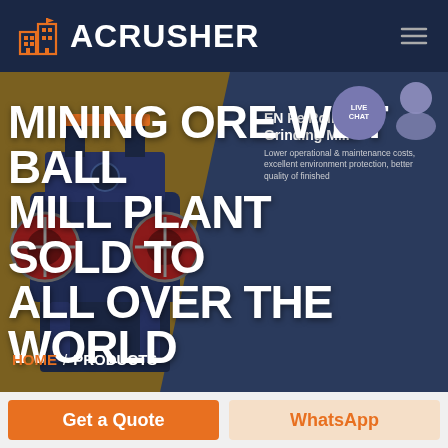ACRUSHER
MINING ORE WET BALL MILL PLANT SOLD TO ALL OVER THE WORLD
EN Pe Roller Grinding Mill
Lower operational & maintenance costs, excellent environment protection, better quality of finished
HOME / PRODUCTS
[Figure (screenshot): Website screenshot of ACRUSHER brand page with industrial mining ore wet ball mill plant machinery image, dark navy header with logo, hero section with dark brown/navy background showing large ball mill machinery on left, live chat bubble on right, and orange/white call-to-action buttons at bottom]
Get a Quote
WhatsApp